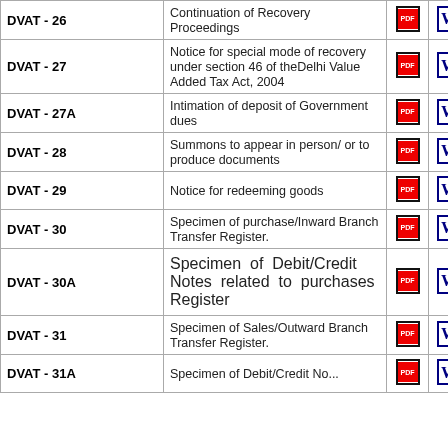| Form | Description | PDF | Word | Excel |
| --- | --- | --- | --- | --- |
| DVAT - 26 | Continuation of Recovery Proceedings | [PDF] | [W] | [XLS] |
| DVAT - 27 | Notice for special mode of recovery under section 46 of theDelhi Value Added Tax Act, 2004 | [PDF] | [W] | [XLS] |
| DVAT - 27A | Intimation of deposit of Government dues | [PDF] | [W] | [XLS] |
| DVAT - 28 | Summons to appear in person/ or to produce documents | [PDF] | [W] | [XLS] |
| DVAT - 29 | Notice for redeeming goods | [PDF] | [W] | [XLS] |
| DVAT - 30 | Specimen of purchase/Inward Branch Transfer Register. | [PDF] | [W] | [XLS] |
| DVAT - 30A | Specimen of Debit/Credit Notes related to purchases Register | [PDF] | [W] | [XLS] |
| DVAT - 31 | Specimen of Sales/Outward Branch Transfer Register. | [PDF] | [W] | [XLS] |
| DVAT - 31A | Specimen of Debit/Credit Notes... | [PDF] | [W] | [XLS] |